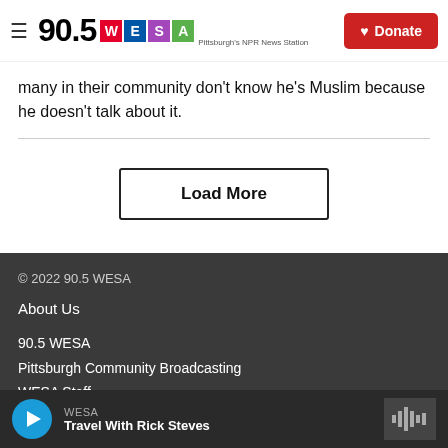90.5 WESA — Pittsburgh's NPR News Station | Donate
many in their community don't know he's Muslim because he doesn't talk about it.
Load More
© 2022 90.5 WESA
About Us
90.5 WESA
Pittsburgh Community Broadcasting
WESA Staff
Board of Directors
WESA — Travel With Rick Steves